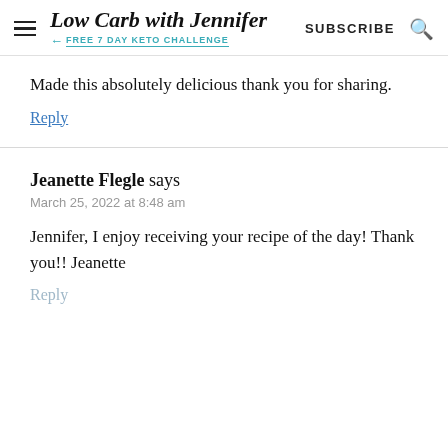Low Carb with Jennifer — FREE 7 DAY KETO CHALLENGE | SUBSCRIBE
Made this absolutely delicious thank you for sharing.
Reply
Jeanette Flegle says
March 25, 2022 at 8:48 am
Jennifer, I enjoy receiving your recipe of the day! Thank you!! Jeanette
Reply